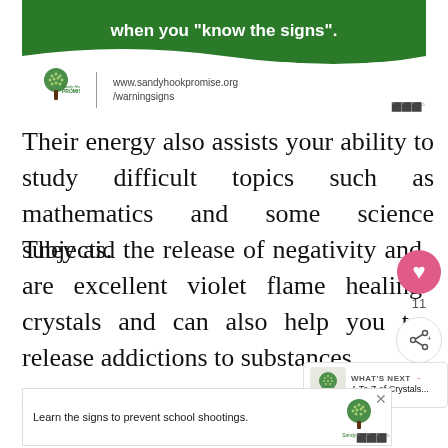[Figure (infographic): Sandy Hook Promise advertisement showing green banner with text 'when you "know the signs".' and logo with website url www.sandyhookpromise.org/warningsigns]
Their energy also assists your ability to study difficult topics such as mathematics and some science subjects.
They aid the release of negativity and are excellent violet flame healing crystals and can also help you to release addictions to substances.
Healing-Crystals-For-You.com is reader supported. When you buy through links on my site, I may earn an affiliate commission. Click to learn more.
[Figure (infographic): Sandy Hook Promise bottom advertisement: Learn the signs to prevent school shootings.]